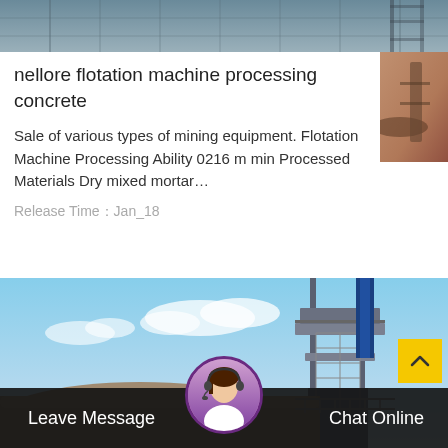[Figure (photo): Top banner photo of a construction/industrial site with scaffolding]
nellore flotation machine processing concrete
Sale of various types of mining equipment. Flotation Machine Processing Ability 0216 m min Processed Materials Dry mixed mortar…
Release Time：Jan_18
[Figure (photo): Industrial facility photo showing large cylindrical pipe and tall industrial tower structure against blue sky]
Leave Message
[Figure (photo): Customer service avatar - woman with headset]
Chat Online